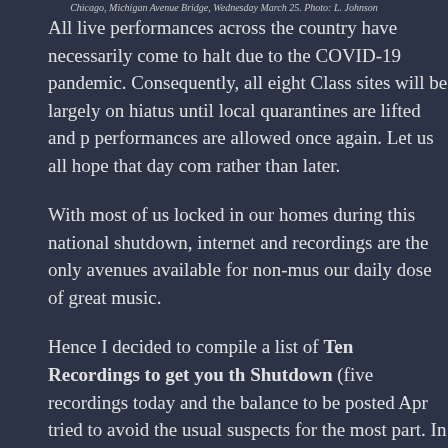Chicago, Michigan Avenue Bridge, Wednesday March 25. Photo: L. Johnson
All live performances across the country have necessarily come to halt due to the COVID-19 pandemic. Consequently, all eight Class sites will be largely on hiatus until local quarantines are lifted and performances are allowed once again. Let us all hope that day com rather than later.
With most of us locked in our homes during this national shutdown internet and recordings are the only avenues available for non-mus our daily dose of great music.
Hence I decided to compile a list of Ten Recordings to get you th Shutdown (five recordings today and the balance to be posted Apr tried to avoid the usual suspects for the most part. In Luddite fashi citing CD labels, though some recordings may also be available via sources.
Again, this is not meant to be the Best or Greatest of anything—jus favorite recordings that have helped me maintain some degree of